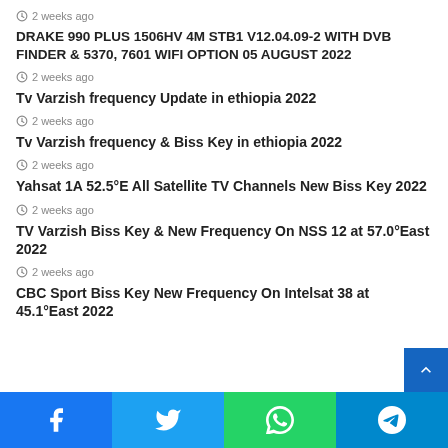2 weeks ago
DRAKE 990 PLUS 1506HV 4M STB1 V12.04.09-2 WITH DVB FINDER & 5370, 7601 WIFI OPTION 05 AUGUST 2022
2 weeks ago
Tv Varzish frequency Update in ethiopia 2022
2 weeks ago
Tv Varzish frequency & Biss Key in ethiopia 2022
2 weeks ago
Yahsat 1A 52.5°E All Satellite TV Channels New Biss Key 2022
2 weeks ago
TV Varzish Biss Key & New Frequency On NSS 12 at 57.0°East 2022
2 weeks ago
CBC Sport Biss Key New Frequency On Intelsat 38 at 45.1°East 2022